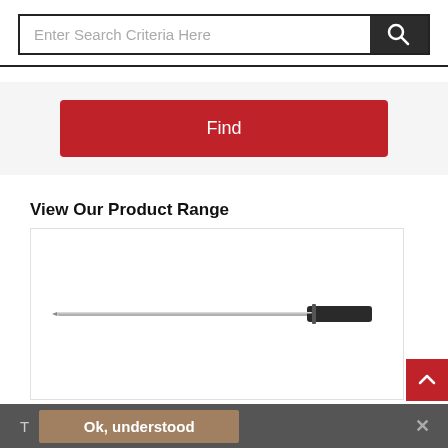[Figure (screenshot): Search bar with text 'Enter Search Criteria Here' and a dark search button with magnifying glass icon]
[Figure (screenshot): Red 'Find' button]
View Our Product Range
[Figure (photo): Product image of a pen/ballpoint pen with metal body and black grip, displayed on white background]
T
Ok, understood
×